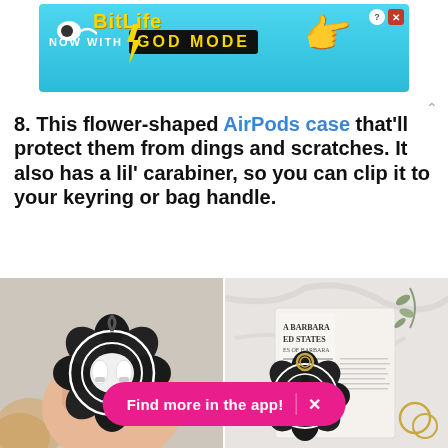[Figure (screenshot): BitLife advertisement banner with 'NOW WITH GOD MODE' text on cyan background]
8. This flower-shaped AirPods case that'll protect them from dings and scratches. It also has a lil' carabiner, so you can clip it to your keyring or bag handle.
[Figure (photo): Two photos of a black flower-shaped silicone AirPods case with white trim. Left photo shows a hand holding the open case with AirPods inside. Right photo shows the closed case placed on a magazine next to a gold carabiner.]
[Figure (screenshot): Pink pill-shaped CTA button reading 'Find more in the app!' with an X close button]